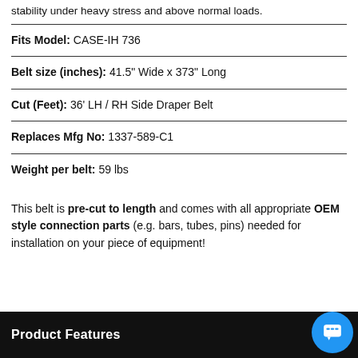stability under heavy stress and above normal loads.
Fits Model: CASE-IH 736
Belt size (inches): 41.5" Wide x 373" Long
Cut (Feet): 36' LH / RH Side Draper Belt
Replaces Mfg No: 1337-589-C1
Weight per belt: 59 lbs
This belt is pre-cut to length and comes with all appropriate OEM style connection parts (e.g. bars, tubes, pins) needed for installation on your piece of equipment!
Product Features